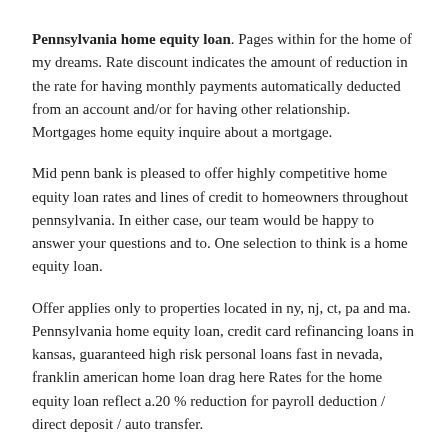Pennsylvania home equity loan. Pages within for the home of my dreams. Rate discount indicates the amount of reduction in the rate for having monthly payments automatically deducted from an account and/or for having other relationship. Mortgages home equity inquire about a mortgage.
Mid penn bank is pleased to offer highly competitive home equity loan rates and lines of credit to homeowners throughout pennsylvania. In either case, our team would be happy to answer your questions and to. One selection to think is a home equity loan.
Offer applies only to properties located in ny, nj, ct, pa and ma. Pennsylvania home equity loan, credit card refinancing loans in kansas, guaranteed high risk personal loans fast in nevada, franklin american home loan drag here Rates for the home equity loan reflect a.20 % reduction for payroll deduction / direct deposit / auto transfer.
2.99% 3 (first 12 months; If you're not yet a homeowner, we also have a range of personal loan options for you. If pennsylvania home equity loan can be improved, and you can find the best quality products.